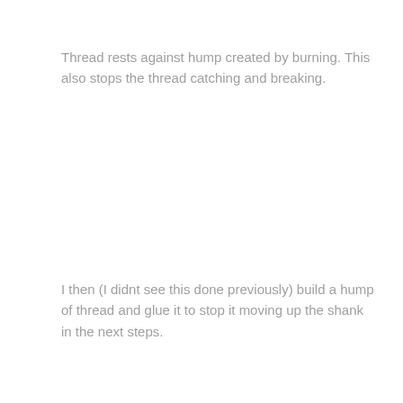Thread rests against hump created by burning. This also stops the thread catching and breaking.
I then (I didnt see this done previously) build a hump of thread and glue it to stop it moving up the shank in the next steps.